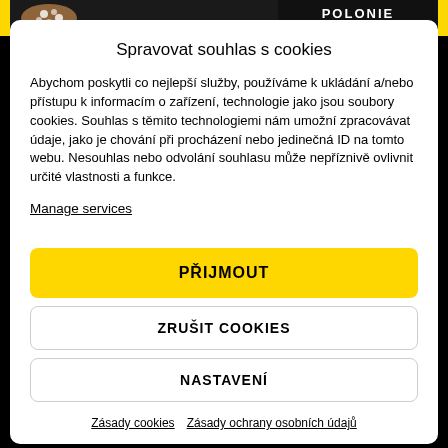[Figure (screenshot): Top banner with yellow accents, decorative jewelry image on left, and text 'PŘIPOMENUTÍ SI JEDNOHO "UZLU"' on right]
Spravovat souhlas s cookies
Abychom poskytli co nejlepší služby, používáme k ukládání a/nebo přístupu k informacím o zařízení, technologie jako jsou soubory cookies. Souhlas s těmito technologiemi nám umožní zpracovávat údaje, jako je chování při procházení nebo jedinečná ID na tomto webu. Nesouhlas nebo odvolání souhlasu může nepříznivě ovlivnit určité vlastnosti a funkce.
Manage services
PŘIJMOUT
ZRUŠIT COOKIES
NASTAVENÍ
Zásady cookies   Zásady ochrany osobních údajů